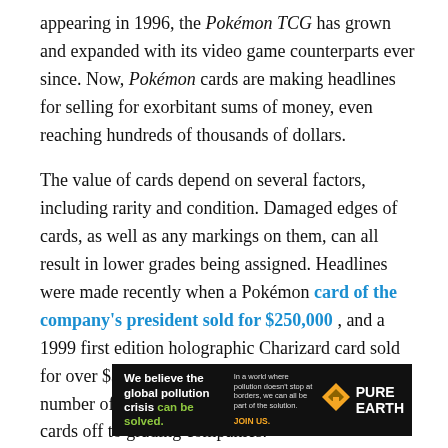appearing in 1996, the Pokémon TCG has grown and expanded with its video game counterparts ever since. Now, Pokémon cards are making headlines for selling for exorbitant sums of money, even reaching hundreds of thousands of dollars.
The value of cards depend on several factors, including rarity and condition. Damaged edges of cards, as well as any markings on them, can all result in lower grades being assigned. Headlines were made recently when a Pokémon card of the company's president sold for $250,000 , and a 1999 first edition holographic Charizard card sold for over $300,000 as well. This has led to a large number of Pokémon card owners shipping their cards off to grading companies.
[Figure (other): Advertisement banner for Pure Earth organization. Black background with white bold text reading 'We believe the global pollution crisis can be solved.' (with 'can be solved.' in green). Middle column smaller text: 'In a world where pollution doesn't stop at borders, we can all be part of the solution.' followed by 'JOIN US.' in orange/yellow. Right side shows Pure Earth logo (orange/yellow diamond shape with downward arrow) and 'PURE EARTH' in white bold text.]